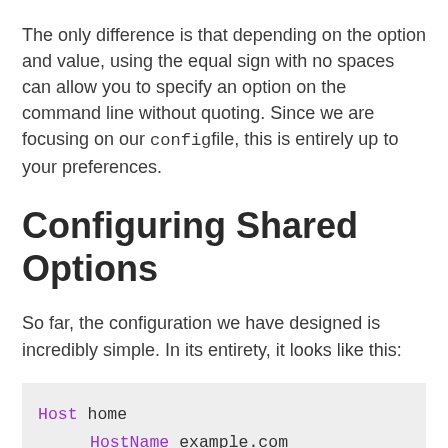The only difference is that depending on the option and value, using the equal sign with no spaces can allow you to specify an option on the command line without quoting. Since we are focusing on our config file, this is entirely up to your preferences.
Configuring Shared Options
So far, the configuration we have designed is incredibly simple. In its entirety, it looks like this:
[Figure (screenshot): Code block showing SSH config file contents: Host home, HostName example.com, User apollo, Port 4567]